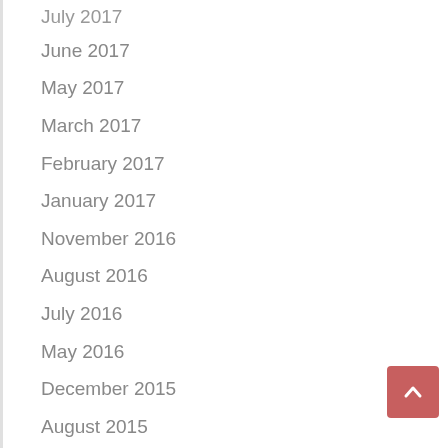July 2017
June 2017
May 2017
March 2017
February 2017
January 2017
November 2016
August 2016
July 2016
May 2016
December 2015
August 2015
July 2015
June 2015
December 2014
February 2014
January 2014
October 2013
September 2013